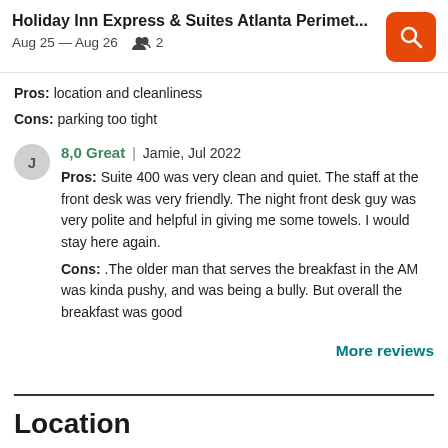Holiday Inn Express & Suites Atlanta Perimet... | Aug 25 – Aug 26  2
Pros: location and cleanliness
Cons: parking too tight
8,0 Great | Jamie, Jul 2022
Pros: Suite 400 was very clean and quiet. The staff at the front desk was very friendly. The night front desk guy was very polite and helpful in giving me some towels. I would stay here again.
Cons: .The older man that serves the breakfast in the AM was kinda pushy, and was being a bully. But overall the breakfast was good
More reviews
Location